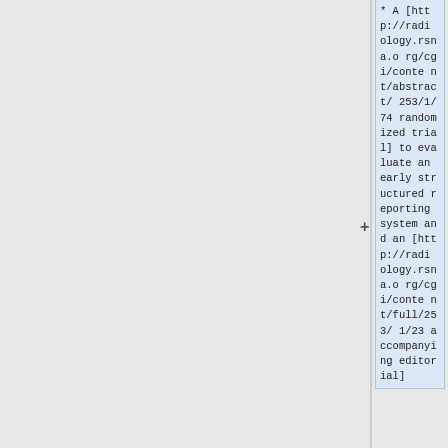* A [http://radiology.rsna.org/cgi/content/abstract/253/1/74 randomized trial] to evaluate an early structured reporting system and an [http://radiology.rsna.org/cgi/content/full/253/1/23 accompanying editorial]